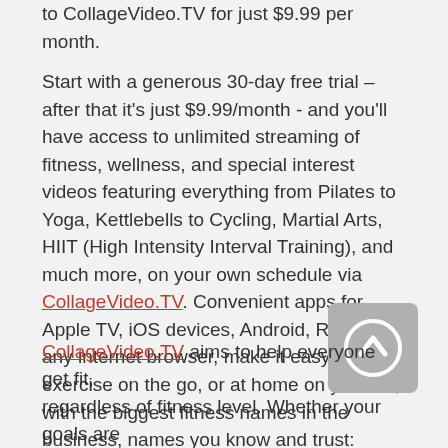to CollageVideo.TV for just $9.99 per month.
Start with a generous 30-day free trial – after that it's just $9.99/month - and you'll have access to unlimited streaming of fitness, wellness, and special interest videos featuring everything from Pilates to Yoga, Kettlebells to Cycling, Martial Arts, HIIT (High Intensity Interval Training), and much more, on your own schedule via CollageVideo.TV. Convenient apps for Apple TV, iOS devices, Android, Roku, or any internet browser, make it easy to exercise on the go, or at home on your TV, with the biggest fitness names in the business, names you know and trust: Gilad, Kathy Smith, Jari Love, Denise Austin, with new ones added every month.
CollageVideo.TV aims to help everyone get fit, regardless of fitness level. Whether your goals are